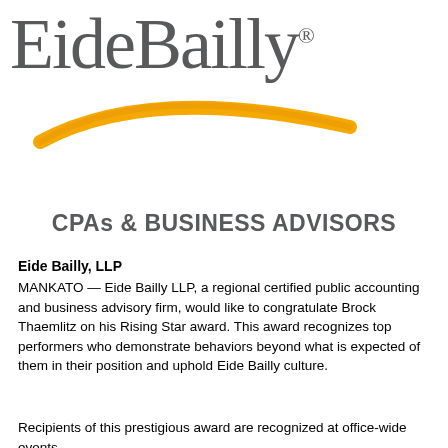[Figure (logo): EideBailly logo with gray serif text and gold swoosh arc underneath]
CPAs & BUSINESS ADVISORS
Eide Bailly, LLP
MANKATO — Eide Bailly LLP, a regional certified public accounting and business advisory firm, would like to congratulate Brock Thaemlitz on his Rising Star award. This award recognizes top performers who demonstrate behaviors beyond what is expected of them in their position and uphold Eide Bailly culture.
Recipients of this prestigious award are recognized at office-wide events